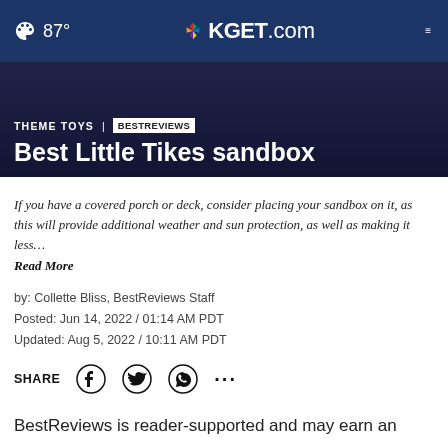87° KGET.com
THEME TOYS | BESTREVIEWS
Best Little Tikes sandbox
If you have a covered porch or deck, consider placing your sandbox on it, as this will provide additional weather and sun protection, as well as making it less… Read More
by: Collette Bliss, BestReviews Staff
Posted: Jun 14, 2022 / 01:14 AM PDT
Updated: Aug 5, 2022 / 10:11 AM PDT
SHARE
BestReviews is reader-supported and may earn an affiliate commission. Details.